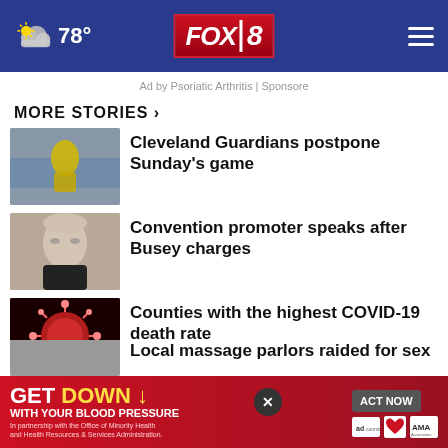FOX 8 — 78°
Ad by Psoriatic Arthritis | Sponsore
MORE STORIES ›
Cleveland Guardians postpone Sunday's game
Convention promoter speaks after Busey charges
Counties with the highest COVID-19 death rate
Biden admin to make student loans decision
Local massage parlors raided for sex
GET DOWN ↓ WITH YOUR BLOOD PRESSURE — ACT NOW